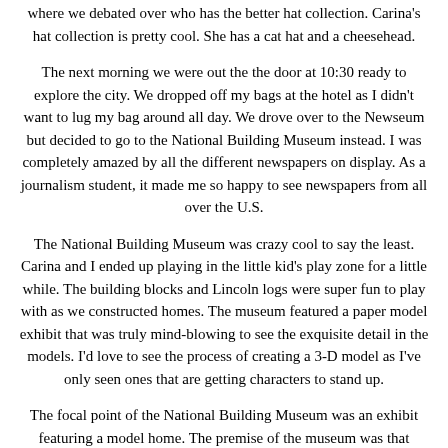where we debated over who has the better hat collection. Carina's hat collection is pretty cool. She has a cat hat and a cheesehead.
The next morning we were out the the door at 10:30 ready to explore the city. We dropped off my bags at the hotel as I didn't want to lug my bag around all day. We drove over to the Newseum but decided to go to the National Building Museum instead. I was completely amazed by all the different newspapers on display. As a journalism student, it made me so happy to see newspapers from all over the U.S.
The National Building Museum was crazy cool to say the least. Carina and I ended up playing in the little kid's play zone for a little while. The building blocks and Lincoln logs were super fun to play with as we constructed homes. The museum featured a paper model exhibit that was truly mind-blowing to see the exquisite detail in the models. I'd love to see the process of creating a 3-D model as I've only seen ones that are getting characters to stand up.
The focal point of the National Building Museum was an exhibit featuring a model home. The premise of the museum was that today's homes aren't suited to work with the evolving lives of the individuals who inhabit today's homes. The model home was incredibly innovative with storage everywhere, foldaway showers and beds, and moving walls. I left the exhibit feeling inspired to see what